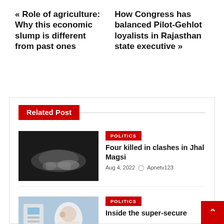« Role of agriculture: Why this economic slump is different from past ones
How Congress has balanced Pilot-Gehlot loyalists in Rajasthan state executive »
Related Post
[Figure (photo): Blurred image of a body on the ground, dark background]
POLITICS
Four killed in clashes in Jhal Magsi
Aug 4, 2022  Apnetv123
[Figure (photo): Person in white protective gear, medical or hazmat context]
POLITICS
Inside the super-secure